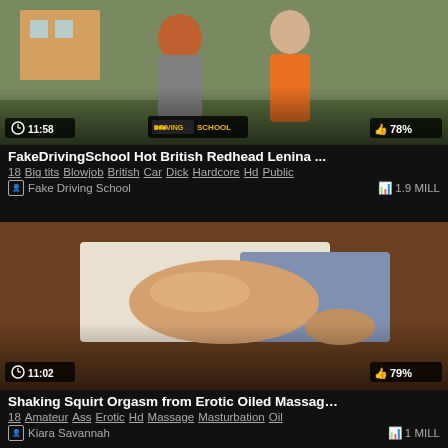[Figure (screenshot): Video thumbnail showing two people outdoors, one with red hair, with Fake Driving School branding. Duration badge: 11:58. Rating badge: 78%]
FakeDrivingSchool Hot British Redhead Lenina …
18  Big tits  Blowjob  British  Car  Dick  Hardcore  Hd  Public
Fake Driving School   1.9 MILL
[Figure (screenshot): Video thumbnail showing an oiled body being massaged on a table. Duration badge: 11:02. Rating badge: 79%]
Shaking Squirt Orgasm from Erotic Oiled Massag…
18  Amateur  Ass  Erotic  Hd  Massage  Masturbation  Oil
Kiara Savannah   1 MILL